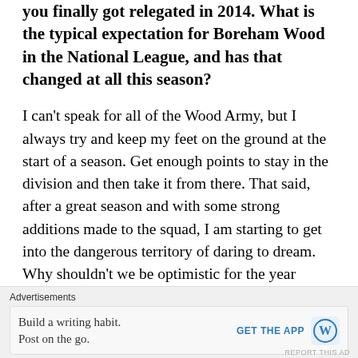you finally got relegated in 2014. What is the typical expectation for Boreham Wood in the National League, and has that changed at all this season?
I can't speak for all of the Wood Army, but I always try and keep my feet on the ground at the start of a season. Get enough points to stay in the division and then take it from there. That said, after a great season and with some strong additions made to the squad, I am starting to get into the dangerous territory of daring to dream. Why shouldn't we be optimistic for the year ahead?
After a memorable 2017/18 season maybe expectations were raised? That Wembley play-off final